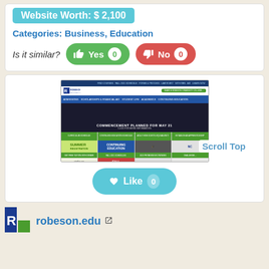Website Worth: $ 2,100
Categories: Business, Education
Is it similar? Yes 0  No 0
[Figure (screenshot): Screenshot of robeson.edu Robeson Community College website showing navigation bar, hero image with 'Commencement Planned for May 21', and grid of links including Continuing Education, Summer Registration, etc.]
Scroll Top
Like 0
[Figure (logo): Robeson Community College R logo in blue and green]
robeson.edu